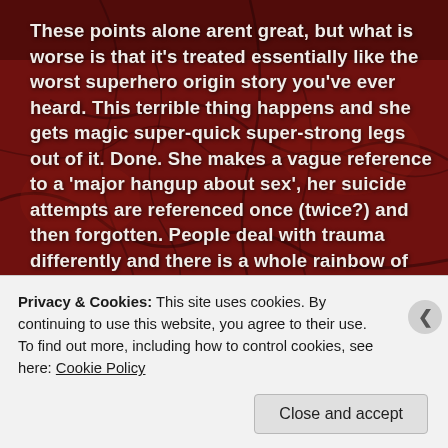[Figure (photo): Dark red organic background resembling biological tissue or veins, with branching dark lines across a deep crimson surface.]
These points alone arent great, but what is worse is that it's treated essentially like the worst superhero origin story you've ever heard. This terrible thing happens and she gets magic super-quick super-strong legs out of it. Done. She makes a vague reference to a 'major hangup about sex', her suicide attempts are referenced once (twice?) and then forgotten. People deal with trauma differently and there is a whole rainbow of emotions I would have accepted as reasonable, but casual forgetting was not one of them.

Then Kurt Kwango – Nigerian, Genius, Ecologist. Also a long history of violence including attempted murderer
Privacy & Cookies: This site uses cookies. By continuing to use this website, you agree to their use.
To find out more, including how to control cookies, see here: Cookie Policy
Close and accept